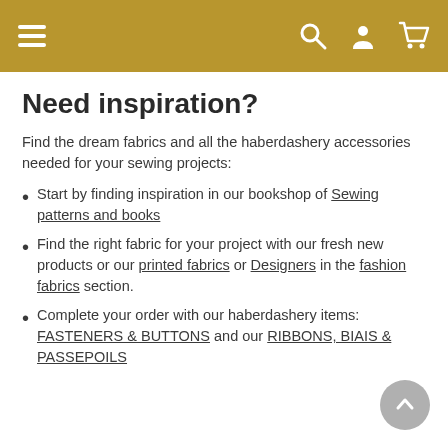Navigation bar with hamburger menu, search, account, and cart icons
Need inspiration?
Find the dream fabrics and all the haberdashery accessories needed for your sewing projects:
Start by finding inspiration in our bookshop of Sewing patterns and books
Find the right fabric for your project with our fresh new products or our printed fabrics or Designers in the fashion fabrics section.
Complete your order with our haberdashery items: FASTENERS & BUTTONS and our RIBBONS, BIAIS & PASSEPOILS